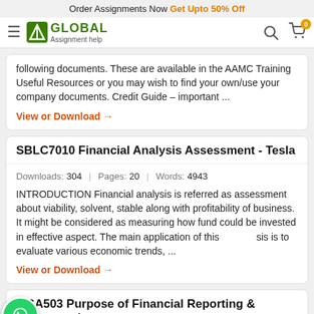Order Assignments Now Get Upto 50% Off
[Figure (logo): Global Assignment Help logo with hamburger menu, search icon, and cart icon showing 0 items]
following documents. These are available in the AAMC Training Useful Resources or you may wish to find your own/use your company documents. Credit Guide – important ...
View or Download →
SBLC7010 Financial Analysis Assessment - Tesla
Downloads: 304  |  Pages: 20  |  Words: 4943
INTRODUCTION Financial analysis is referred as assessment about viability, solvent, stable along with profitability of business. It might be considered as measuring how fund could be invested in effective aspect. The main application of this analysis is to evaluate various economic trends, ...
View or Download →
MBA503 Purpose of Financial Reporting & Conceptual